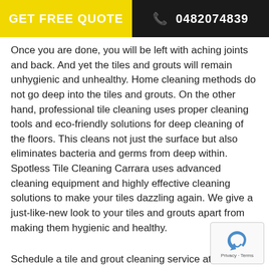GET FREE QUOTE  📞 0482074839
Once you are done, you will be left with aching joints and back. And yet the tiles and grouts will remain unhygienic and unhealthy. Home cleaning methods do not go deep into the tiles and grouts. On the other hand, professional tile cleaning uses proper cleaning tools and eco-friendly solutions for deep cleaning of the floors. This cleans not just the surface but also eliminates bacteria and germs from deep within. Spotless Tile Cleaning Carrara uses advanced cleaning equipment and highly effective cleaning solutions to make your tiles dazzling again. We give a just-like-new look to your tiles and grouts apart from making them hygienic and healthy.
Schedule a tile and grout cleaning service at Spotless Cleaning today!